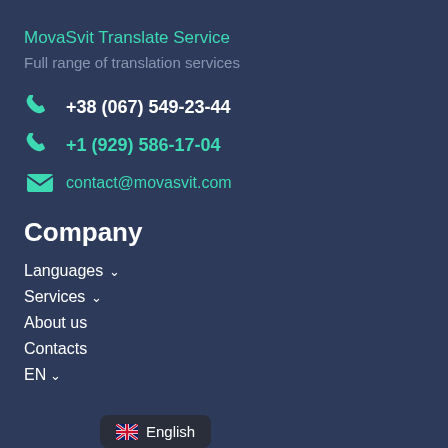MovaSvit Translate Service
Full range of translation services
+38 (067) 549-23-44
+1 (929) 586-17-04
contact@movasvit.com
Company
Languages
Services
About us
Contacts
EN
English